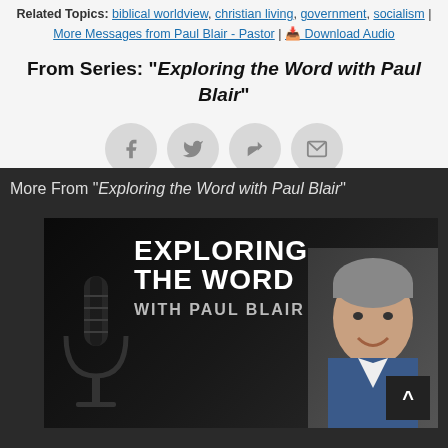Related Topics: biblical worldview, christian living, government, socialism | More Messages from Paul Blair - Pastor | Download Audio
From Series: "Exploring the Word with Paul Blair"
[Figure (infographic): Four social share buttons in a row: Facebook, Twitter, Share/Forward, and Email icons, each in a light gray circle]
More From "Exploring the Word with Paul Blair"
[Figure (photo): Podcast artwork for 'Exploring The Word with Paul Blair' showing large white text on dark background with a microphone graphic on the left and a smiling man in a suit on the right]